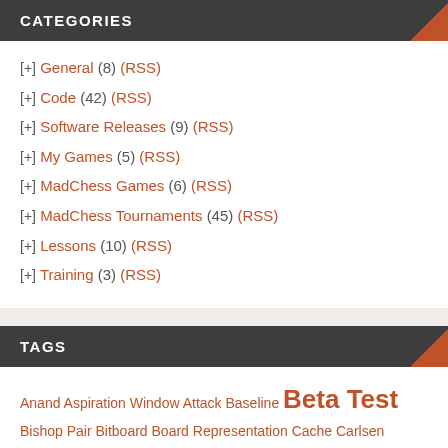CATEGORIES
[+] General (8) (RSS)
[+] Code (42) (RSS)
[+] Software Releases (9) (RSS)
[+] My Games (5) (RSS)
[+] MadChess Games (6) (RSS)
[+] MadChess Tournaments (45) (RSS)
[+] Lessons (10) (RSS)
[+] Training (3) (RSS)
TAGS
Anand Aspiration Window Attack Baseline Beta Test Bishop Pair Bitboard Board Representation Cache Carlsen Central Square Closed